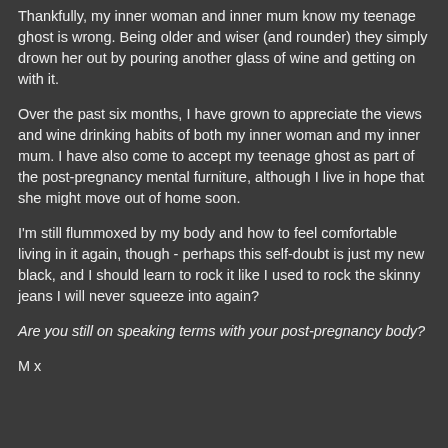Thankfully, my inner woman and inner mum know my teenage ghost is wrong. Being older and wiser (and rounder) they simply drown her out by pouring another glass of wine and getting on with it.
Over the past six months, I have grown to appreciate the views and wine drinking habits of both my inner woman and my inner mum. I have also come to accept my teenage ghost as part of the post-pregnancy mental furniture, although I live in hope that she might move out of home soon.
I'm still flummoxed by my body and how to feel comfortable living in it again, though - perhaps this self-doubt is just my new black, and I should learn to rock it like I used to rock the skinny jeans I will never squeeze into again?
Are you still on speaking terms with your post-pregnancy body?
M x